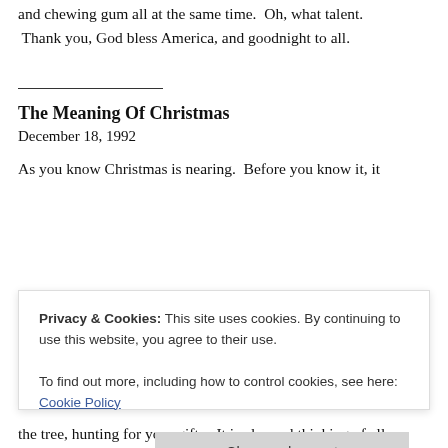and chewing gum all at the same time.  Oh, what talent.  Thank you, God bless America, and goodnight to all.
The Meaning Of Christmas
December 18, 1992
As you know Christmas is nearing.  Before you know it, it
Privacy & Cookies: This site uses cookies. By continuing to use this website, you agree to their use.
To find out more, including how to control cookies, see here: Cookie Policy
the tree, hunting for your gifts.  It is also sad thinking of all